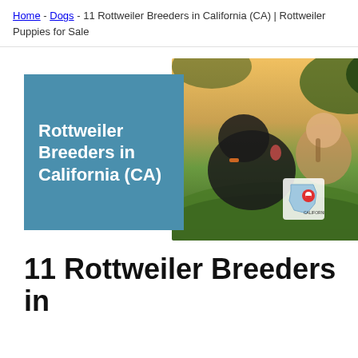Home - Dogs - 11 Rottweiler Breeders in California (CA) | Rottweiler Puppies for Sale
[Figure (photo): Hero image showing a Rottweiler dog licking a young girl's face outdoors in grass, with a blue overlay panel on the left reading 'Rottweiler Breeders in California (CA)' and a California map badge in the bottom right corner.]
11 Rottweiler Breeders in